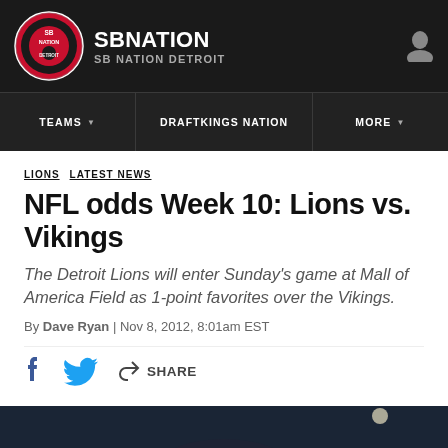SB NATION / SB NATION DETROIT
LIONS  LATEST NEWS
NFL odds Week 10: Lions vs. Vikings
The Detroit Lions will enter Sunday's game at Mall of America Field as 1-point favorites over the Vikings.
By Dave Ryan | Nov 8, 2012, 8:01am EST
SHARE